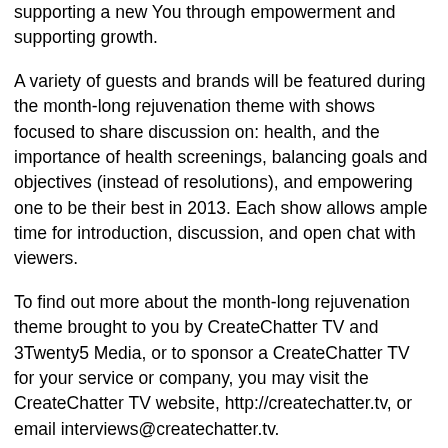supporting a new You through empowerment and supporting growth.
A variety of guests and brands will be featured during the month-long rejuvenation theme with shows focused to share discussion on: health, and the importance of health screenings, balancing goals and objectives (instead of resolutions), and empowering one to be their best in 2013. Each show allows ample time for introduction, discussion, and open chat with viewers.
To find out more about the month-long rejuvenation theme brought to you by CreateChatter TV and 3Twenty5 Media, or to sponsor a CreateChatter TV for your service or company, you may visit the CreateChatter TV website, http://createchatter.tv, or email interviews@createchatter.tv.